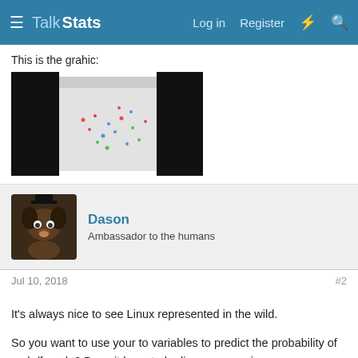Talk Stats — Log in   Register
This is the grahic:
[Figure (screenshot): Screenshot of a scatter plot graph in a dark-themed application, showing colored data points on a light background panel, with black panels on the left and right sides.]
Dason
Ambassador to the humans
Jul 10, 2018   #2
It's always nice to see Linux represented in the wild.

So you want to use your to variables to predict the probability of male/female? Does it have to be linear regression or are you open to logistic regression?
luchins
Member